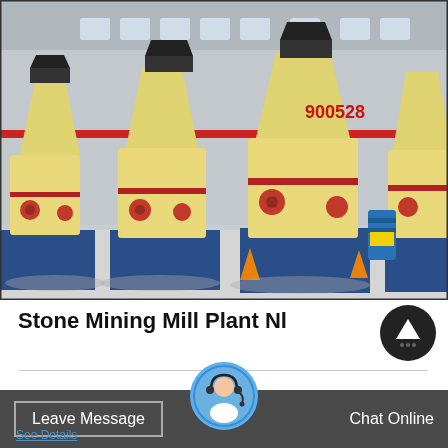[Figure (photo): Row of large yellow cone crusher machines (stone mining mill equipment) lined up in an industrial yard in front of a factory building. The machines are mounted on blue steel frames.]
Stone Mining Mill Plant Nl
Stone mining mill plant pictures 250tph river stone crushing line in chile 200tph granite crushing line in cameroon 250tph limestone crushing line in ke...0tph granite crushing line i...
Leave Message   Chat Online